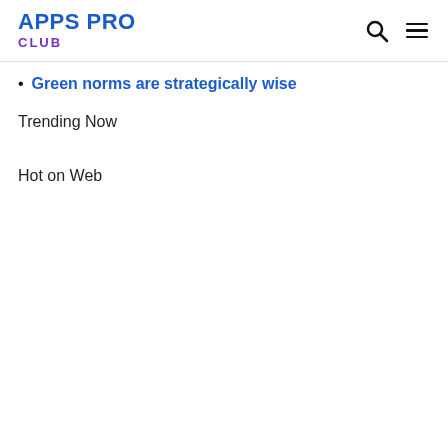APPS PRO CLUB
Green norms are strategically wise
Trending Now
Hot on Web